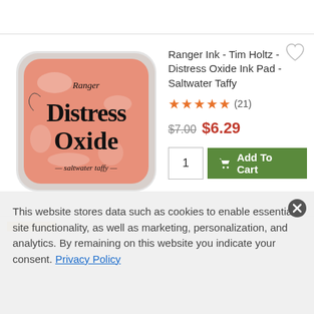[Figure (photo): Ranger Ink Distress Oxide Ink Pad in Saltwater Taffy color — a square ink pad with rounded corners, salmon/peach color background with 'Distress Oxide' text in black and '— saltwater taffy —' label]
Ranger Ink - Tim Holtz - Distress Oxide Ink Pad - Saltwater Taffy
★★★★★ (21)
$7.00  $6.29
1  Add To Cart
This website stores data such as cookies to enable essential site functionality, as well as marketing, personalization, and analytics. By remaining on this website you indicate your consent. Privacy Policy